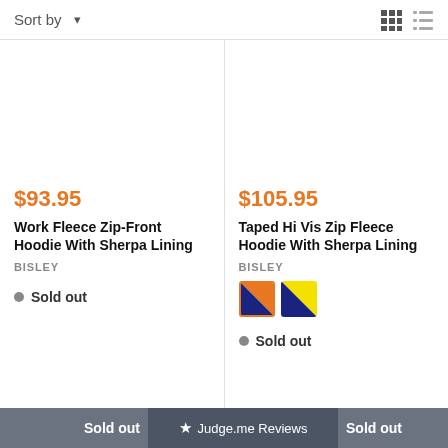Sort by ▾
$93.95
Work Fleece Zip-Front Hoodie With Sherpa Lining
BISLEY
Sold out
$105.95
Taped Hi Vis Zip Fleece Hoodie With Sherpa Lining
BISLEY
Sold out
Sold out  ★ Judge.me Reviews  Sold out